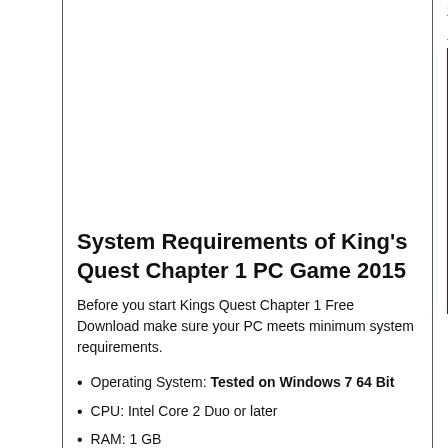Game Setup
Free Download
[Figure (photo): Action video game screenshot showing fighters in a courtyard with Asian architecture]
System Requirements of King's Quest Chapter 1 PC Game 2015
Before you start Kings Quest Chapter 1 Free Download make sure your PC meets minimum system requirements.
Operating System: Tested on Windows 7 64 Bit
CPU: Intel Core 2 Duo or later
RAM: 1 GB
Hard Disk Space: 13 GB
Kings Quest Chapter 1 Free